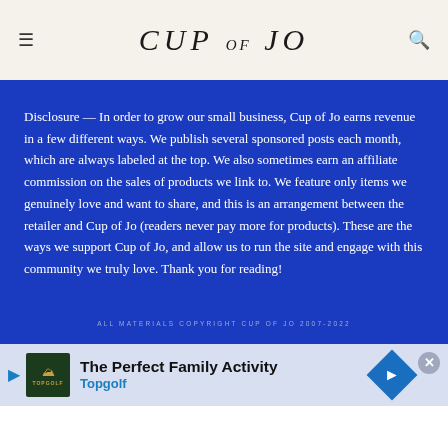CUP OF JO
Disclosure — In order to grow our small business, Cup of Jo earns revenue in a few different ways. We publish several sponsored posts each month, which are always labeled at the top. We also sometimes earn an affiliate commission on the sales of products we link to. We feature only items we genuinely love and want to share, and this is an arrangement between the retailer and Cup of Jo (readers never pay more for products). These are the ways we support Cup of Jo, and allow us to run the site and engage with this community we truly love. Thank you for reading!
ALL MATERIALS COPYRIGHT CUP OF JO 2007-2022
[Figure (other): Advertisement banner for Topgolf: The Perfect Family Activity]